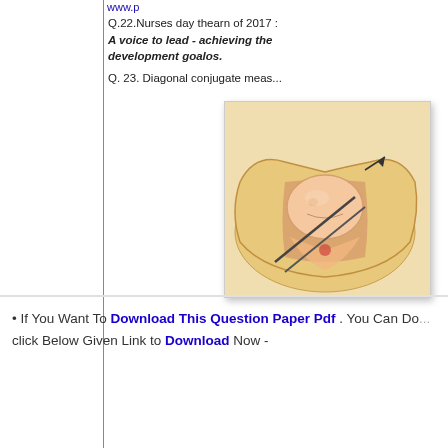www.p...
Q.22.Nurses day thearn of 2017
A voice to lead - achieving the development goalos.
Q. 23. Diagonal conjugate meas...
[Figure (illustration): Medical illustration showing a cross-section of a fetus in the birth canal with forceps/instrument being used, depicting diagonal conjugate measurement or delivery procedure.]
If You Want To Download This Question Paper Pdf . You Can Do... click Below Given Link to Download Now -